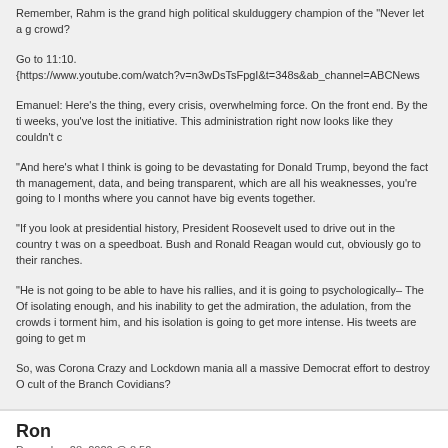Remember, Rahm is the grand high political skulduggery champion of the "Never let a g crowd?
Go to 11:10.
{https://www.youtube.com/watch?v=n3wDsTsFpgI&t=348s&ab_channel=ABCNews
Emanuel: Here's the thing, every crisis, overwhelming force. On the front end. By the ti weeks, you've lost the initiative. This administration right now looks like they couldn't c
"And here's what I think is going to be devastating for Donald Trump, beyond the fact th management, data, and being transparent, which are all his weaknesses, you're going to l months where you cannot have big events together.
"If you look at presidential history, President Roosevelt used to drive out in the country t was on a speedboat. Bush and Ronald Reagan would cut, obviously go to their ranches.
"He is not going to be able to have his rallies, and it is going to psychologically– The Of isolating enough, and his inability to get the admiration, the adulation, from the crowds i torment him, and his isolation is going to get more intense. His tweets are going to get m
So, was Corona Crazy and Lockdown mania all a massive Democrat effort to destroy O cult of the Branch Covidians?
Ron
December 28, 2020 @ 8:52 pm